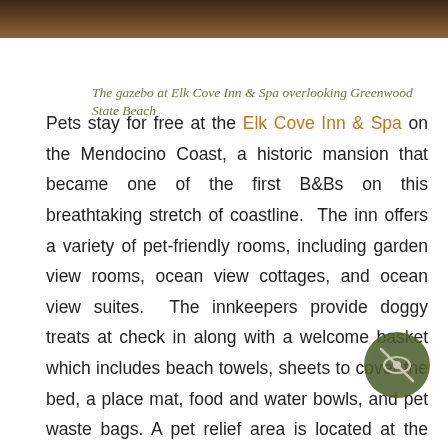[Figure (photo): Partial photo strip at top of page showing a dark outdoor scene, likely the gazebo at Elk Cove Inn & Spa]
The gazebo at Elk Cove Inn & Spa overlooking Greenwood State Beach
Pets stay for free at the Elk Cove Inn & Spa on the Mendocino Coast, a historic mansion that became one of the first B&Bs on this breathtaking stretch of coastline.  The inn offers a variety of pet-friendly rooms, including garden view rooms, ocean view cottages, and ocean view suites.  The innkeepers provide doggy treats at check in along with a welcome basket which includes beach towels, sheets to cover the bed, a place mat, food and water bowls, and pet waste bags. A pet relief area is located at the north end of the property's parking lot.  Nestled in seclusion atop a bluff, the inn overlooks a mile of dramatic beachfront and is surrounded by native trees. It has direct access via private stairs to the driftwood-strewn beach b… and all the sticks a dog could want.